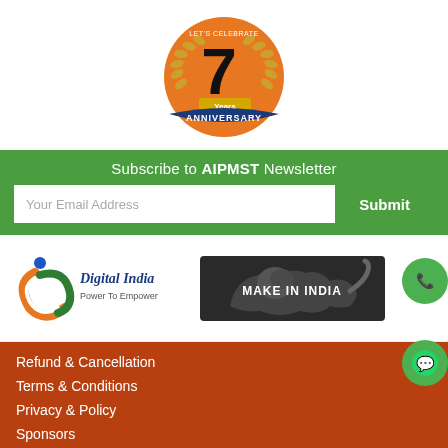[Figure (logo): 7 Years Anniversary badge - orange circle with gold laurel wreath and blue ANNIVERSARY ribbon banner]
Subscribe to AIPMST Newsletter
[Figure (other): Email subscription form with input field 'Your Email Address' and green Submit button]
[Figure (logo): Digital India - Power To Empower logo with tricolor swirl]
[Figure (logo): Make In India logo with lion silhouette]
Refund & Cancellation
Terms & Conditions
Privacy & Policy
Sponsors
Useful Links
Media
Online Fee Payment